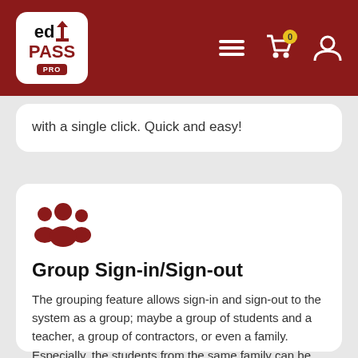edPASS PRO
with a single click. Quick and easy!
[Figure (illustration): Group of people icon in dark red, representing a group sign-in feature]
Group Sign-in/Sign-out
The grouping feature allows sign-in and sign-out to the system as a group; maybe a group of students and a teacher, a group of contractors, or even a family. Especially, the students from the same family can be signed in and out within a couple of seconds.